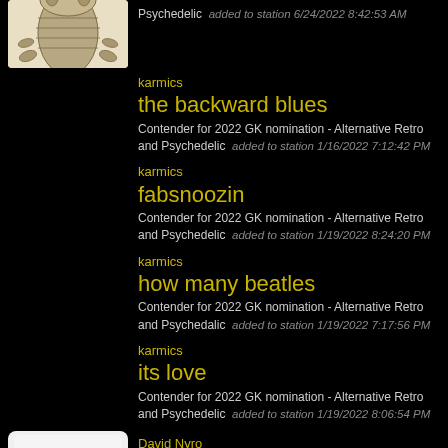[Figure (photo): Trilobite fossil illustration album art, beige background with detailed fossil image]
Psychedelic  added to station 6/24/2022 8:42:53 AM
karmics
the backward blues
Contender for 2022 GK nomination - Alternative Retro and Psychedelic  added to station 1/16/2022 7:12:42 PM
karmics
fabsnoozin
Contender for 2022 GK nomination - Alternative Retro and Psychedelic  added to station 1/19/2022 8:24:20 PM
karmics
how many beatles
Contender for 2022 GK nomination - Alternative Retro and Psychedalic  added to station 1/19/2022 7:17:56 PM
karmics
its love
Contender for 2022 GK nomination - Alternative Retro and Psychedelic  added to station 1/19/2022 8:06:54 PM
[Figure (illustration): Indie Music logo illustration on white background with colorful text]
David Nyro
She's Not Okay
Contender for 2022 GK nomination - Alternative Retro and Psychedelic